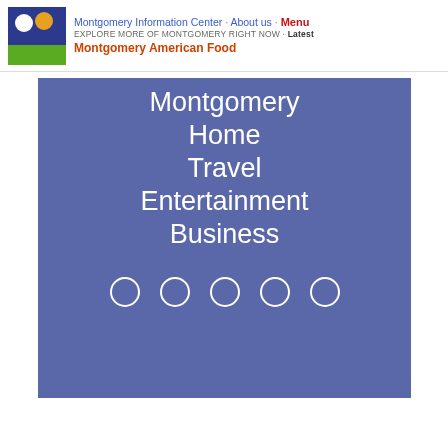Montgomery Information Center · About us · Menu
EXPLORE MORE OF MONTGOMERY RIGHT NOW · Latest
Montgomery American Food
[Figure (illustration): Navigation menu overlay on blue-purple background with items: Montgomery, Home, Travel, Entertainment, Business, and five empty circle indicators at bottom]
Montgomery
Home
Travel
Entertainment
Business